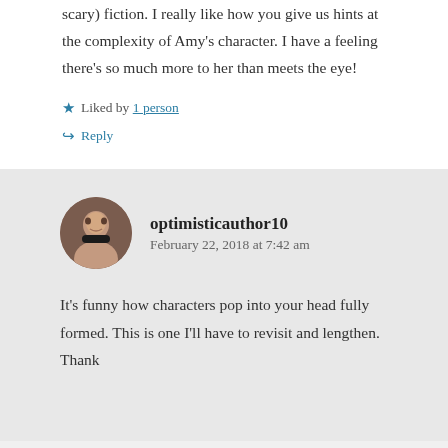scary) fiction. I really like how you give us hints at the complexity of Amy's character. I have a feeling there's so much more to her than meets the eye!
★ Liked by 1 person
↳ Reply
optimisticauthor10
February 22, 2018 at 7:42 am
It's funny how characters pop into your head fully formed. This is one I'll have to revisit and lengthen. Thank